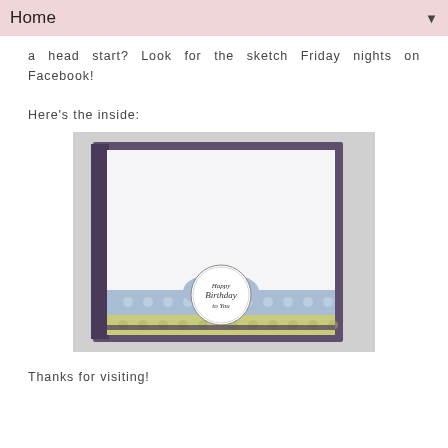Home
a head start? Look for the sketch Friday nights on Facebook!
Here's the inside:
[Figure (photo): Inside of a handmade birthday card. The card is open, showing the interior: a white panel bordered in dark purple, with a decorative strip at the bottom featuring blue patterned paper and green/yellow patterned paper. In the center of the bottom strip is a circular medallion stamped with 'Happy Birthday to You' text in script.]
Thanks for visiting!